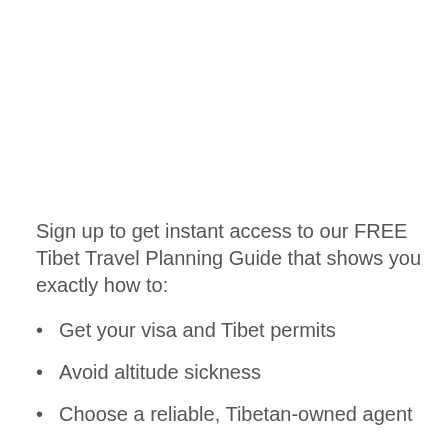Sign up to get instant access to our FREE Tibet Travel Planning Guide that shows you exactly how to:
Get your visa and Tibet permits
Avoid altitude sickness
Choose a reliable, Tibetan-owned agent
And much more…so you can feel peace of mind